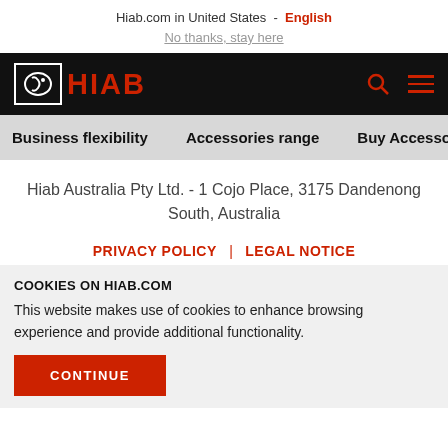Hiab.com in United States  -  English
No thanks, stay here
[Figure (logo): HIAB logo with red text and icon on black navigation bar]
Business flexibility   Accessories range   Buy Accesso
Hiab Australia Pty Ltd. - 1 Cojo Place, 3175 Dandenong South, Australia
PRIVACY POLICY  |  LEGAL NOTICE
COOKIES ON HIAB.COM
This website makes use of cookies to enhance browsing experience and provide additional functionality.
CONTINUE